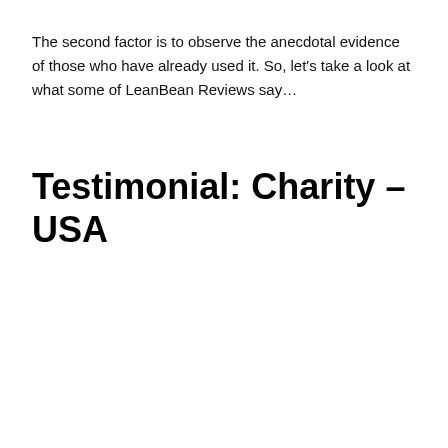The second factor is to observe the anecdotal evidence of those who have already used it. So, let's take a look at what some of LeanBean Reviews say…
Testimonial: Charity – USA